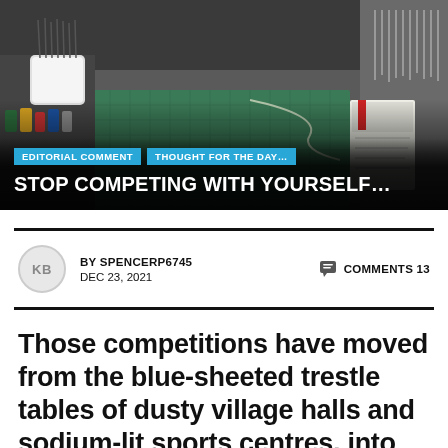[Figure (photo): A cluttered hobby/craft workbench viewed from above, with paints, tools, brushes in containers on the left, a green cutting mat in the center, and hanging tools on the right wall. Dark background.]
EDITORIAL COMMENT
THOUGHT FOR THE DAY…
STOP COMPETING WITH YOURSELF…
BY SPENCERP6745   COMMENTS 13
DEC 23, 2021
Those competitions have moved from the blue-sheeted trestle tables of dusty village halls and sodium-lit sports centres, into the